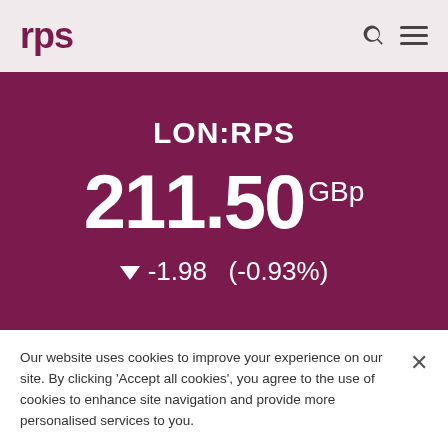rps
LON:RPS
211.50 GBp
▼ -1.98  (-0.93%)
Our website uses cookies to improve your experience on our site. By clicking 'Accept all cookies', you agree to the use of cookies to enhance site navigation and provide more personalised services to you.
Cookies Settings
Accept all cookies